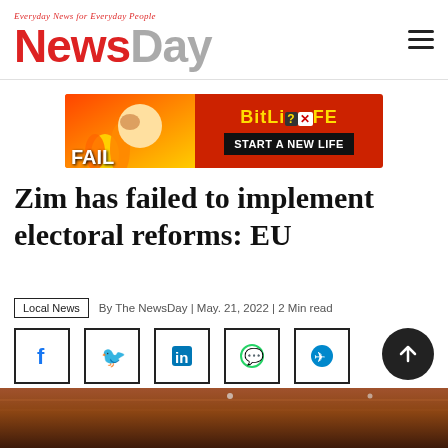NewsDay — Everyday News for Everyday People
[Figure (illustration): BitLife advertisement banner — FAIL graphic with cartoon character, fire, and START A NEW LIFE text]
Zim has failed to implement electoral reforms: EU
Local News | By The NewsDay | May. 21, 2022 | 2 Min read
[Figure (infographic): Social share icons: Facebook, Twitter, LinkedIn, WhatsApp, Telegram]
[Figure (photo): Partial photo at bottom of page showing a wooden table or furniture surface]